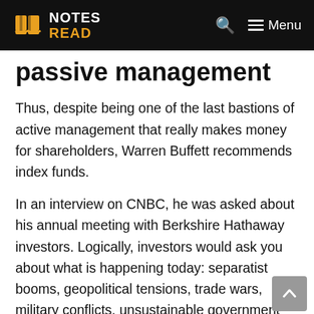NOTES READ
passive management
Thus, despite being one of the last bastions of active management that really makes money for shareholders, Warren Buffett recommends index funds.
In an interview on CNBC, he was asked about his annual meeting with Berkshire Hathaway investors. Logically, investors would ask you about what is happening today: separatist booms, geopolitical tensions, trade wars, military conflicts, unsustainable government debts.